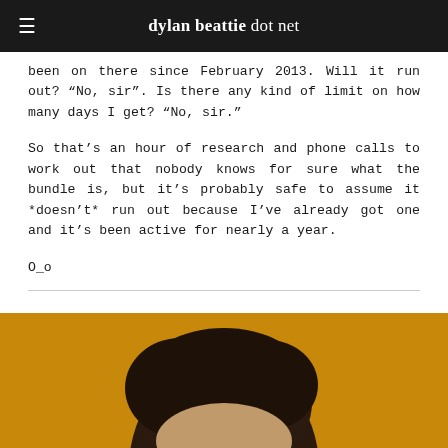dylan beattie dot net
been on there since February 2013. Will it run out? “No, sir”. Is there any kind of limit on how many days I get? “No, sir.”
So that’s an hour of research and phone calls to work out that nobody knows for sure what the bundle is, but it’s probably safe to assume it *doesn’t* run out because I’ve already got one and it’s been active for nearly a year.
O_o
[Figure (photo): Portrait photo of a person with dark hair against a golden/amber yellow background, showing the top of the head and forehead area.]